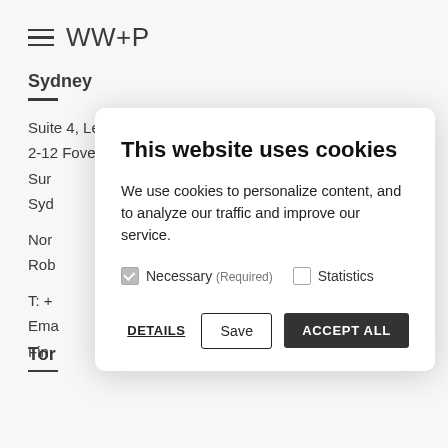[Figure (logo): WW+P logo with hamburger menu icon]
Sydney
Suite 4, Level 1
2-12 Foveaux Street
Sur...
Syd...
Nor...
Rob...
T: +...
Ema...
Fin...
[Figure (screenshot): Cookie consent modal dialog with title 'This website uses cookies', body text about personalizing content and analyzing traffic, checkboxes for Necessary (Required, checked) and Statistics (unchecked), and buttons: DETAILS, Save, ACCEPT ALL]
Tor...